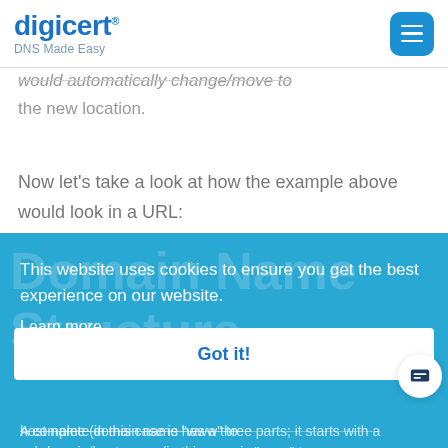[Figure (logo): DigiCert logo with 'DNS Made Easy' tagline]
would automatically change/move to the new location.
Now let's take a look at how the example above would look in a URL:
This website uses cookies to ensure you get the best experience on our website.
Learn more
A complete domain name has a three parts; it starts with a subdomain/host name (in this case is "www" to indicate "world wide web"), once this
Got it!